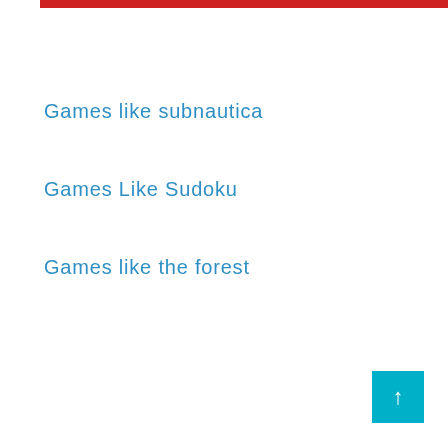Games like subnautica
Games Like Sudoku
Games like the forest